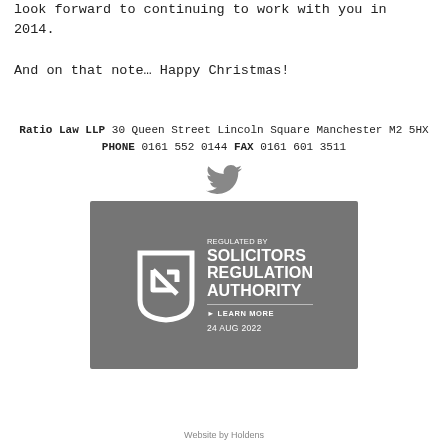look forward to continuing to work with you in 2014.
And on that note… Happy Christmas!
Ratio Law LLP 30 Queen Street Lincoln Square Manchester M2 5HX PHONE 0161 552 0144 FAX 0161 601 3511
[Figure (logo): Twitter bird icon]
[Figure (logo): Regulated by Solicitors Regulation Authority badge. Learn More. 24 AUG 2022]
Website by Holdens